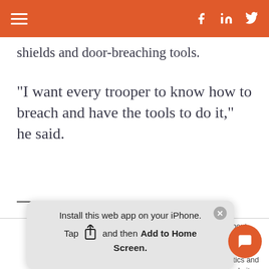Navigation bar with hamburger menu and social icons (Facebook, LinkedIn, Twitter)
shields and door-breaching tools.
“I want every trooper to know how to breach and have the tools to do it,” he said.
We use cookies to collect information about how you interact with our website. We use this information in order to improve and customize your browsing experience and for analytics and metrics about our visitors both on this website and other media. To find out more about the cookies we use, see our Privacy Policy.
If you decline, your information won’t be tracked
Install this web app on your iPhone. Tap and then Add to Home Screen.